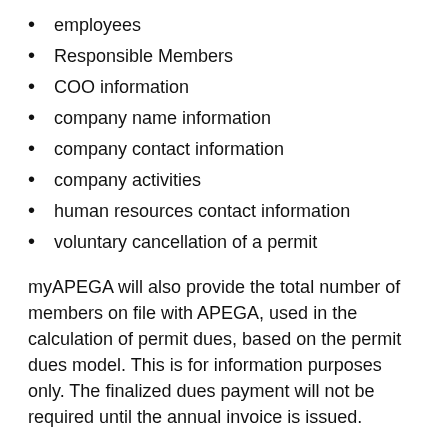employees
Responsible Members
COO information
company name information
company contact information
company activities
human resources contact information
voluntary cancellation of a permit
myAPEGA will also provide the total number of members on file with APEGA, used in the calculation of permit dues, based on the permit dues model. This is for information purposes only. The finalized dues payment will not be required until the annual invoice is issued.
Log in to myAPEGA